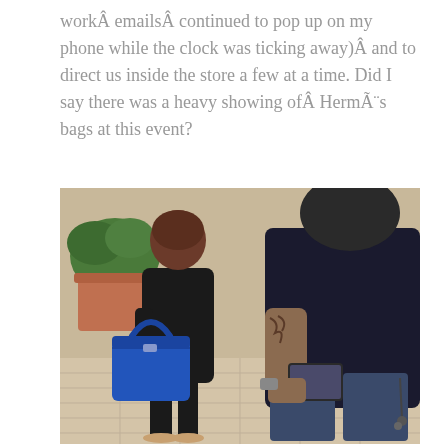workÂ emailsÂ continued to pop up on my phone while the clock was ticking away)Â and to direct us inside the store a few at a time. Did I say there was a heavy showing ofÂ HermÃ«s bags at this event?
[Figure (photo): Two people standing in what appears to be a mall or upscale shopping center. A woman in black clothing carries a bright blue Hermès Kelly bag. A tattooed man in a dark shirt and jeans is holding a phone/tablet. Decorative tiled flooring and a large terracotta pot with plants visible in the background.]